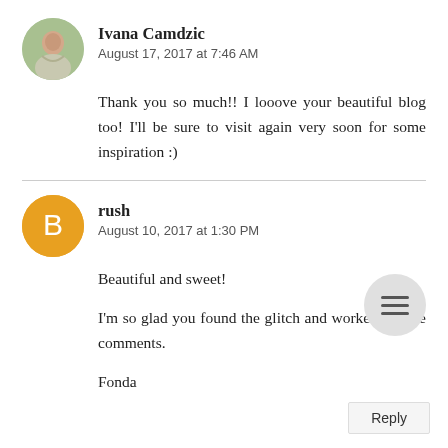Ivana Camdzic
August 17, 2017 at 7:46 AM
Thank you so much!! I looove your beautiful blog too! I'll be sure to visit again very soon for some inspiration :)
rush
August 10, 2017 at 1:30 PM
Beautiful and sweet!
I'm so glad you found the glitch and worked out the comments.
Fonda